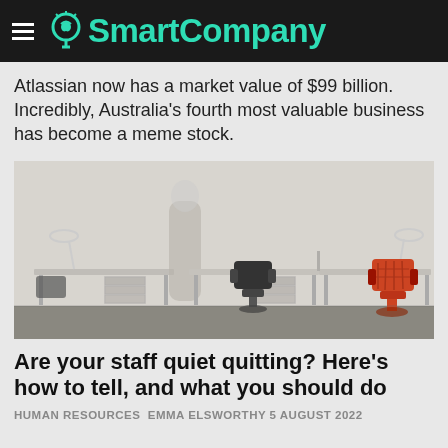SmartCompany
Atlassian now has a market value of $99 billion. Incredibly, Australia's fourth most valuable business has become a meme stock.
[Figure (photo): Office interior with empty desks, office chairs (black and red/orange), and a blurred person walking in the background]
Are your staff quiet quitting? Here's how to tell, and what you should do
HUMAN RESOURCES  EMMA ELSWORTHY  5 AUGUST 2022